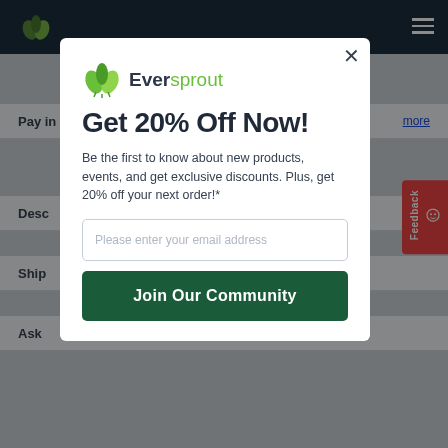[Figure (screenshot): Website page background showing navigation bar with Eversprout leaf logo, dimmed product page with rows labeled Desc, Ship, Ask, and a red feedback tab on the right side.]
[Figure (infographic): Modal popup for Eversprout email signup. Contains Eversprout logo, headline 'Get 20% Off Now!', body text about exclusive discounts, email input field, and 'Join Our Community' button.]
Get 20% Off Now!
Be the first to know about new products, events, and get exclusive discounts. Plus, get 20% off your next order!*